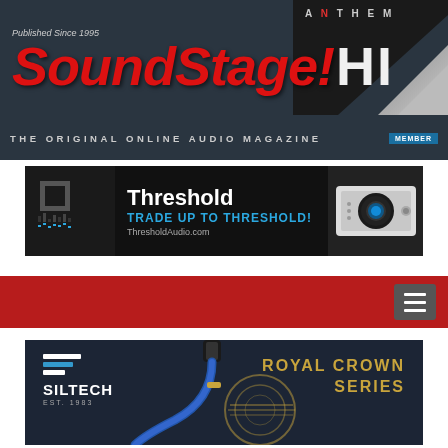[Figure (screenshot): SoundStage Hi-Fi website header with dark blue-grey background, SoundStage! logo in red italic bold text with HI- suffix in white, tagline 'THE ORIGINAL ONLINE AUDIO MAGAZINE', and Anthem advertiser corner with page-curl effect]
[Figure (screenshot): Threshold Audio banner advertisement: TRADE UP TO THRESHOLD! ThresholdAudio.com, with equipment image on right]
[Figure (screenshot): Red navigation bar with hamburger menu button on the right]
[Figure (screenshot): Siltech Royal Crown Series advertisement with cable image, Siltech logo with stripes, EST. 1983 text, and gold Royal Crown Series text on dark blue background]